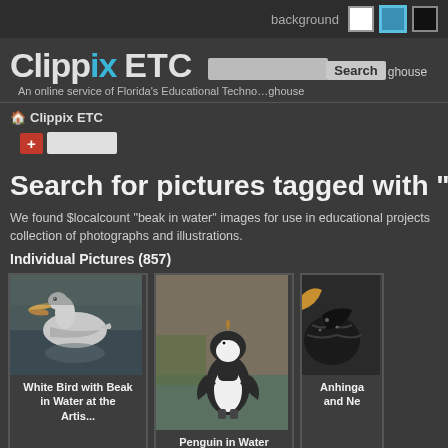background [white] [blue] [black]
Clippix ETC
An online service of Florida's Educational Technology Clearinghouse
Clippix ETC
+ [input]
Search for pictures tagged with "be
We found $localcount "beak in water" images for use in educational projects. collection of photographs and illustrations.
Individual Pictures (857)
[Figure (photo): White pelican swimming in water with beak visible]
White Bird with Beak in Water at the Artis...
[Figure (photo): Penguin standing in water looking upward]
Penguin in Water
[Figure (photo): Anhinga bird close-up, partial view]
Anhinga and Ne